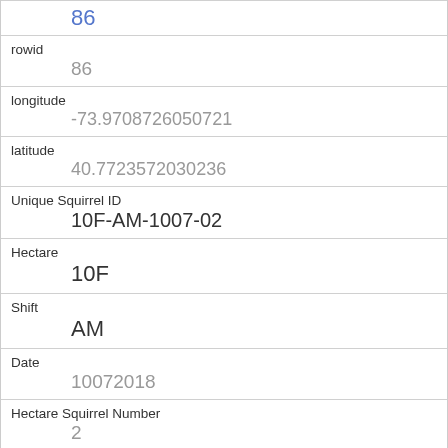| rowid | 86 |
| longitude | -73.9708726050721 |
| latitude | 40.7723572030236 |
| Unique Squirrel ID | 10F-AM-1007-02 |
| Hectare | 10F |
| Shift | AM |
| Date | 10072018 |
| Hectare Squirrel Number | 2 |
| Age | Adult |
| Primary Fur Color | Gray |